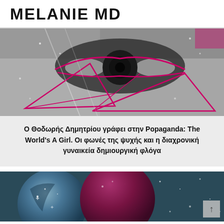MELANIE MD
[Figure (illustration): Close-up black and white photo of an eye with pink/magenta geometric triangle overlays and artistic effects]
Ο Θοδωρής Δημητρίου γράφει στην Popaganda: The World's A Girl. Οι φωνές της ψυχής και η διαχρονική γυναικεία δημιουργική φλόγα
[Figure (illustration): Artistic illustration showing cosmic spheres - a blue/grey moon-like sphere and a dark magenta/purple sphere with stars and sparkles on a dark teal background]